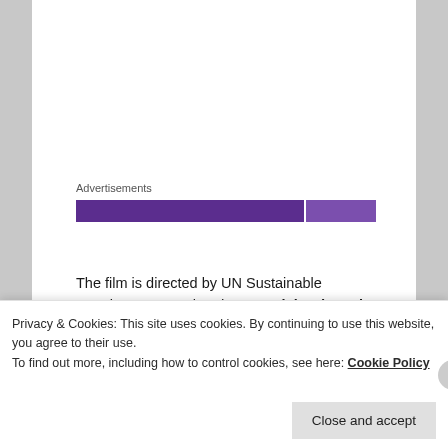Advertisements
[Figure (other): Purple advertisement banner — dark purple left section and lighter purple right section]
The film is directed by UN Sustainable Development Goals Advocate Richard Curtis. It features leading activists such as education advocate and UN Messenger of Peace, Malala Yousafzai, Professor of Educational Technology, Sugata Mitra, UNESCO Special Envoy for Peace, Forest Whitaker, actor and women's rights activist Thandie Newton OBE, as well as UN Goodwill Ambassadors, Don Cheadle (UNEP) and Michelle
Privacy & Cookies: This site uses cookies. By continuing to use this website, you agree to their use.
To find out more, including how to control cookies, see here: Cookie Policy